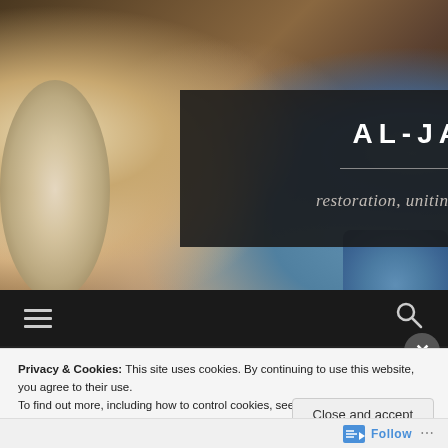[Figure (photo): Background photo of colorful ceramic plates, bowls, and pottery items including hand-painted Spanish/Moroccan style plates on left and blue decorative dishes on right, with dark wooden elements]
AL-JABR
restoration, uniting broken parts
[Figure (infographic): Navigation bar with hamburger menu icon on left and search (magnifying glass) icon on right, on dark background]
[Figure (infographic): Close button (X) in grey circle]
Privacy & Cookies: This site uses cookies. By continuing to use this website, you agree to their use.
To find out more, including how to control cookies, see here: Cookie Policy
Close and accept
Follow